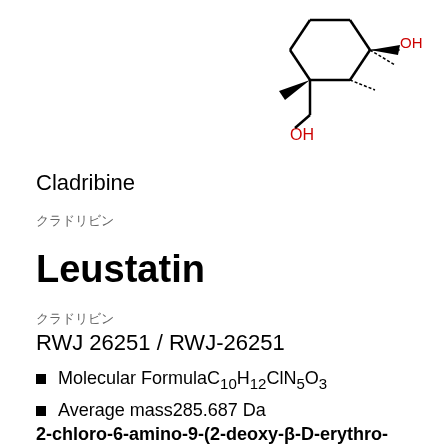[Figure (schematic): Chemical structure diagram of Cladribine (Leustatin) showing a bicyclic ring system with OH groups labeled in red and bond lines in black]
Cladribine
クラドリビン
Leustatin
クラドリビン
RWJ 26251 / RWJ-26251
Molecular Formula C10H12ClN5O3
Average mass285.687 Da
2-chloro-6-amino-9-(2-deoxy-β-D-erythro-